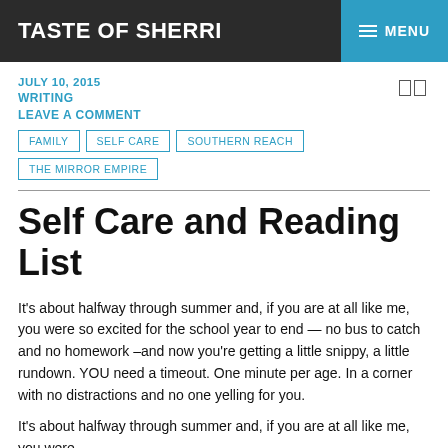TASTE OF SHERRI
JULY 10, 2015
WRITING
LEAVE A COMMENT
FAMILY
SELF CARE
SOUTHERN REACH
THE MIRROR EMPIRE
Self Care and Reading List
It's about halfway through summer and, if you are at all like me, you were so excited for the school year to end — no bus to catch and no homework –and now you're getting a little snippy, a little rundown. YOU need a timeout. One minute per age. In a corner with no distractions and no one yelling for you.